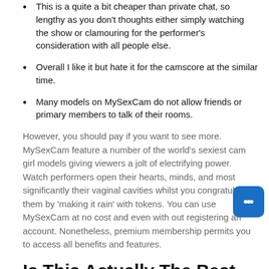This is a quite a bit cheaper than private chat, so lengthy as you don't thoughts either simply watching the show or clamouring for the performer's consideration with all people else.
Overall I like it but hate it for the camscore at the similar time.
Many models on MySexCam do not allow friends or primary members to talk of their rooms.
However, you should pay if you want to see more. MySexCam feature a number of the world's sexiest cam girl models giving viewers a jolt of electrifying power. Watch performers open their hearts, minds, and most significantly their vaginal cavities whilst you congratulate them by 'making it rain' with tokens. You can use MySexCam at no cost and even with out registering an account. Nonetheless, premium membership permits you to access all benefits and features.
Is This Actually The Best